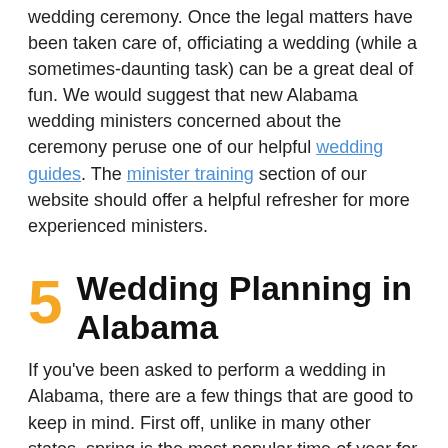wedding ceremony. Once the legal matters have been taken care of, officiating a wedding (while a sometimes-daunting task) can be a great deal of fun. We would suggest that new Alabama wedding ministers concerned about the ceremony peruse one of our helpful wedding guides. The minister training section of our website should offer a helpful refresher for more experienced ministers.
5 Wedding Planning in Alabama
If you've been asked to perform a wedding in Alabama, there are a few things that are good to keep in mind. First off, unlike in many other states, spring is the most popular time of year for couples to tie the knot in Alabama – 33 percent of all weddings take place between March and May. This means high-demand locales may be booked out far in advance, and couples will be clamoring for officiants during the spring season. If the ceremony will take place at an outdoor